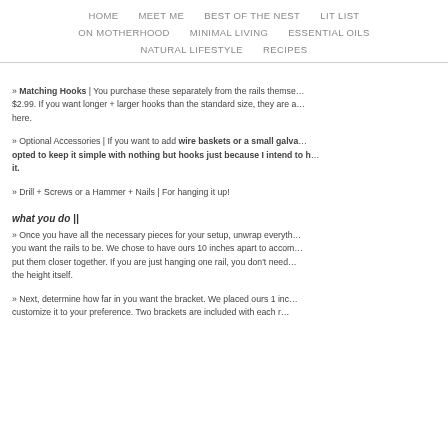HOME  MEET ME  BEST OF THE NEST  LIT LIST  ON MOTHERHOOD  MINIMAL LIVING  ESSENTIAL OILS  NATURAL LIFESTYLE  RECIPES
» Matching Hooks | You purchase these separately from the rails themselves for $2.99. If you want longer + larger hooks than the standard size, they are available here.
» Optional Accessories | If you want to add wire baskets or a small galva... opted to keep it simple with nothing but hooks just because I intend to h... it.
» Drill + Screws or a Hammer + Nails | For hanging it up!
what you do ||
» Once you have all the necessary pieces for your setup, unwrap everyth... you want the rails to be. We chose to have ours 10 inches apart to accom... put them closer together. If you are just hanging one rail, you don't need... the height itself.
» Next, determine how far in you want the bracket. We placed ours 1 inc... customize it to your preference. Two brackets are included with each r...